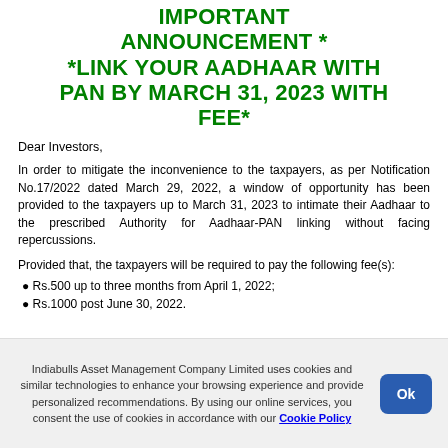IMPORTANT ANNOUNCEMENT * *LINK YOUR AADHAAR WITH PAN BY MARCH 31, 2023 WITH FEE*
Dear Investors,
In order to mitigate the inconvenience to the taxpayers, as per Notification No.17/2022 dated March 29, 2022, a window of opportunity has been provided to the taxpayers up to March 31, 2023 to intimate their Aadhaar to the prescribed Authority for Aadhaar-PAN linking without facing repercussions.
Provided that, the taxpayers will be required to pay the following fee(s):
Rs.500 up to three months from April 1, 2022;
Rs.1000 post June 30, 2022.
Indiabulls Asset Management Company Limited uses cookies and similar technologies to enhance your browsing experience and provide personalized recommendations. By using our online services, you consent the use of cookies in accordance with our Cookie Policy